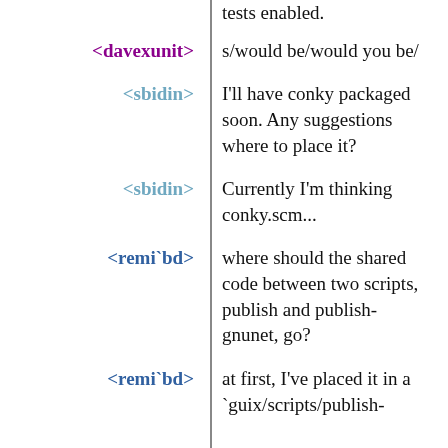tests enabled.
<davexunit> s/would be/would you be/
<sbidin> I'll have conky packaged soon. Any suggestions where to place it?
<sbidin> Currently I'm thinking conky.scm...
<remi`bd> where should the shared code between two scripts, publish and publish-gnunet, go?
<remi`bd> at first, I've placed it in a `guix/scripts/publish-